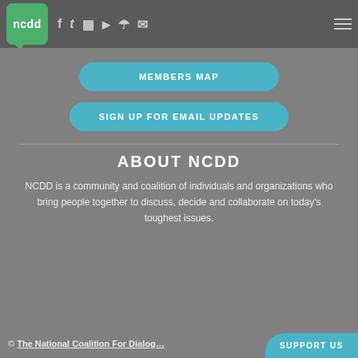ncdd — navigation header with logo and social icons
MEMBERS MAP
SIGN UP FOR EMAIL UPDATES
ABOUT NCDD
NCDD is a community and coalition of individuals and organizations who bring people together to discuss, decide and collaborate on today's toughest issues.
© The National Coalition For Dialog…    SUPPORT US